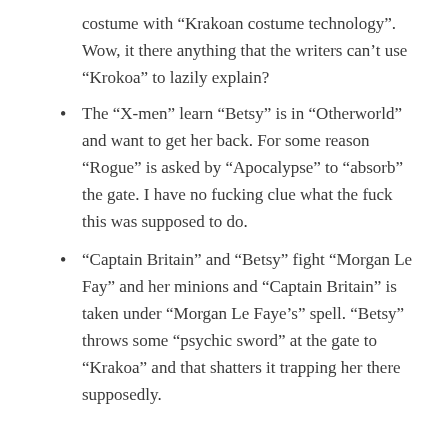costume with “Krakoan costume technology”. Wow, it there anything that the writers can’t use “Krokoa” to lazily explain?
The “X-men” learn “Betsy” is in “Otherworld” and want to get her back. For some reason “Rogue” is asked by “Apocalypse” to “absorb” the gate. I have no fucking clue what the fuck this was supposed to do.
“Captain Britain” and “Betsy” fight “Morgan Le Fay” and her minions and “Captain Britain” is taken under “Morgan Le Faye’s” spell. “Betsy” throws some “psychic sword” at the gate to “Krakoa” and that shatters it trapping her there supposedly.